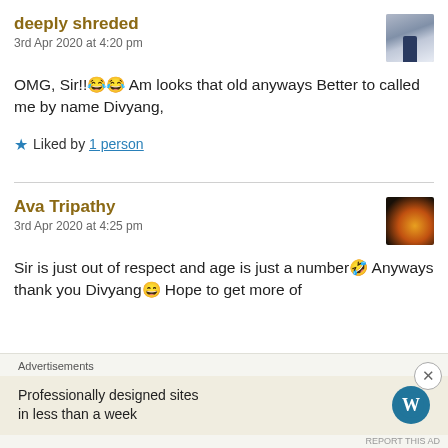deeply shreded
3rd Apr 2020 at 4:20 pm
OMG, Sir!!😂😂 Am looks that old anyways Better to called me by name Divyang,
★ Liked by 1 person
Ava Tripathy
3rd Apr 2020 at 4:25 pm
Sir is just out of respect and age is just a number🤣 Anyways thank you Divyang😄 Hope to get more of
Advertisements
Professionally designed sites in less than a week